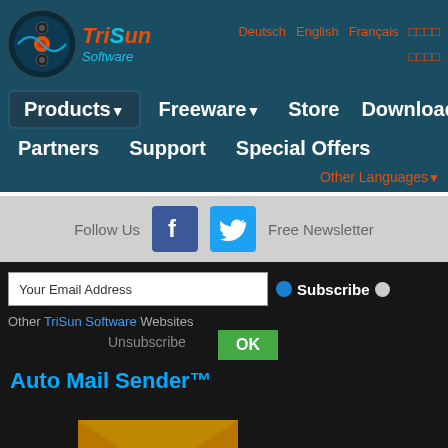[Figure (logo): TriSun Software logo with circular disc icon and orange/blue text]
Deutsch  English  Français  □□□□  □□□□
Products▼   Freeware▼   Store   Download
Partners   Support   Special Offers
Other Languages▼
Follow Us   Free Newsletter
[Figure (logo): Facebook icon button (blue square with white f)]
[Figure (logo): Twitter icon button (cyan square with white bird)]
Your Email Address
Subscribe
Other TriSun Software Websites
Unsubscribe
OK
Auto Mail Sender™
[Figure (illustration): Golden envelope with green circular arrow refresh icon - Auto Mail Sender product icon]